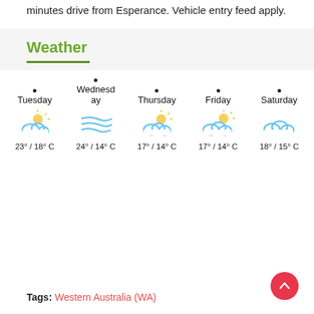minutes drive from Esperance. Vehicle entry feed apply.
Weather
[Figure (infographic): 5-day weather forecast showing Tuesday through Saturday with weather icons and temperatures. Tuesday: 23°/18°C partly cloudy, Wednesday: 24°/14°C windy, Thursday: 17°/14°C partly cloudy, Friday: 17°/14°C partly cloudy, Saturday: 18°/15°C cloudy.]
Tags: Western Australia (WA)